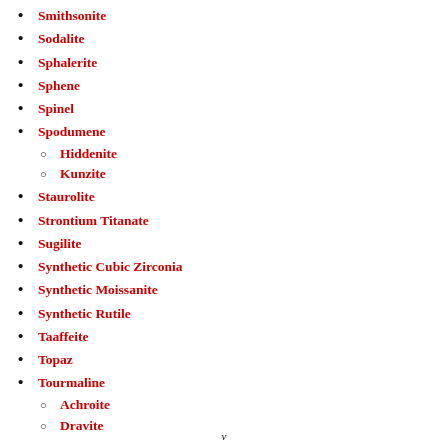Smithsonite
Sodalite
Sphalerite
Sphene
Spinel
Spodumene
Hiddenite
Kunzite
Staurolite
Strontium Titanate
Sugilite
Synthetic Cubic Zirconia
Synthetic Moissanite
Synthetic Rutile
Taaffeite
Topaz
Tourmaline
Achroite
Dravite
v